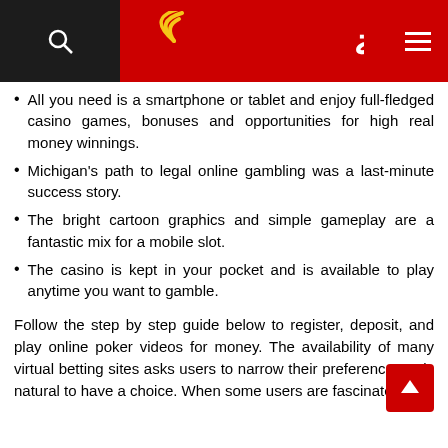صوت الامة
All you need is a smartphone or tablet and enjoy full-fledged casino games, bonuses and opportunities for high real money winnings.
Michigan's path to legal online gambling was a last-minute success story.
The bright cartoon graphics and simple gameplay are a fantastic mix for a mobile slot.
The casino is kept in your pocket and is available to play anytime you want to gamble.
Follow the step by step guide below to register, deposit, and play online poker videos for money. The availability of many virtual betting sites asks users to narrow their preferences. It is natural to have a choice. When some users are fascinated